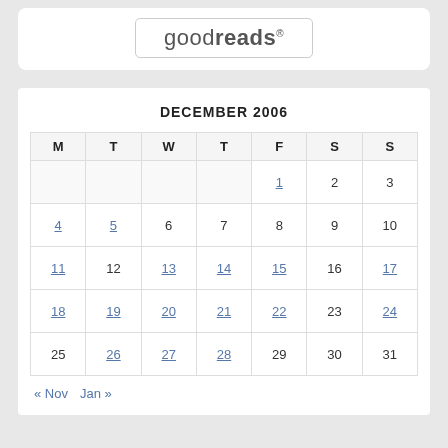[Figure (logo): Goodreads logo inside a rounded rectangle border]
| M | T | W | T | F | S | S |
| --- | --- | --- | --- | --- | --- | --- |
|  |  |  |  | 1 | 2 | 3 |
| 4 | 5 | 6 | 7 | 8 | 9 | 10 |
| 11 | 12 | 13 | 14 | 15 | 16 | 17 |
| 18 | 19 | 20 | 21 | 22 | 23 | 24 |
| 25 | 26 | 27 | 28 | 29 | 30 | 31 |
« Nov   Jan »